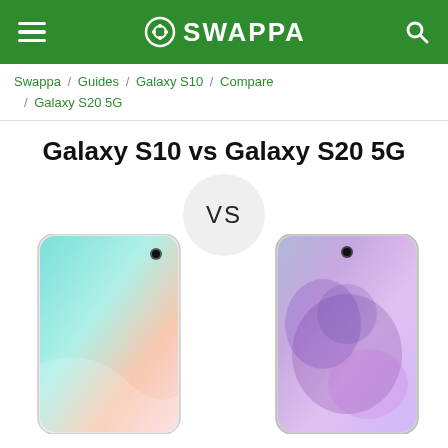SWAPPA
Swappa / Guides / Galaxy S10 / Compare / Galaxy S20 5G
Galaxy S10 vs Galaxy S20 5G
[Figure (infographic): VS circle badge with two Samsung Galaxy phone images side by side — Galaxy S10 (left, white/prismatic display) and Galaxy S20 5G (right, dark/cosmic gray)]